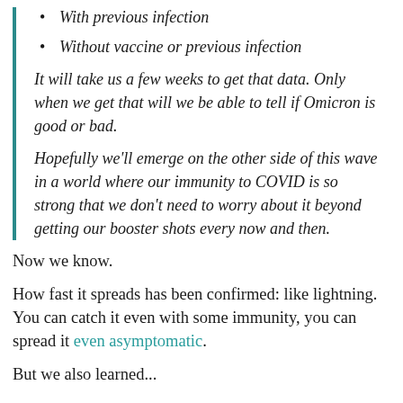With previous infection
Without vaccine or previous infection
It will take us a few weeks to get that data. Only when we get that will we be able to tell if Omicron is good or bad.
Hopefully we'll emerge on the other side of this wave in a world where our immunity to COVID is so strong that we don't need to worry about it beyond getting our booster shots every now and then.
Now we know.
How fast it spreads has been confirmed: like lightning. You can catch it even with some immunity, you can spread it even asymptomatic.
But we also learned...